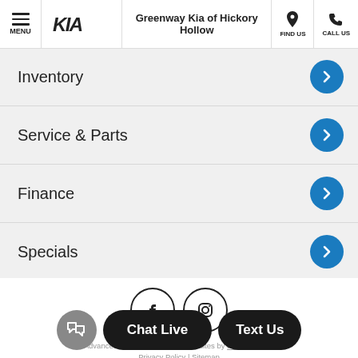Greenway Kia of Hickory Hollow
Inventory
Service & Parts
Finance
Specials
[Figure (other): Facebook and Instagram social media icons in circular outlined style]
Advanced Automotive Dealer Websites by Dealer Inspire
Privacy Policy | Sitemap
Copyright © 2022 Greenway Kia of Hickory Hollow